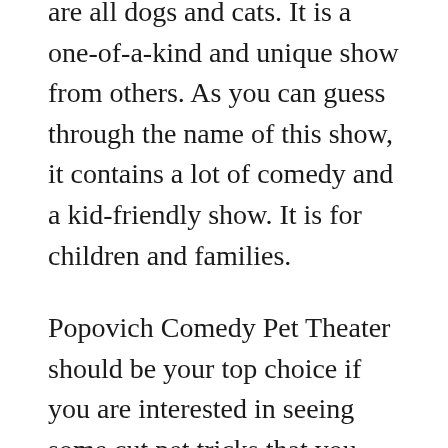are all dogs and cats. It is a one-of-a-kind and unique show from others. As you can guess through the name of this show, it contains a lot of comedy and a kid-friendly show. It is for children and families.
Popovich Comedy Pet Theater should be your top choice if you are interested in seeing some cut pet tricks that you cannot imagine. The show includes everything from dogs jumping rope to pushing strollers.
However, the main audience of the